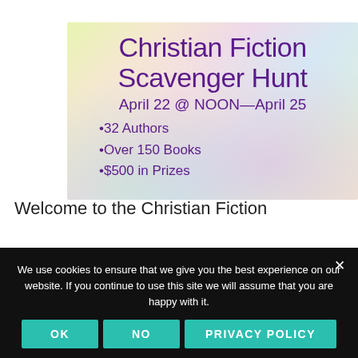[Figure (illustration): Promotional banner for Christian Fiction Scavenger Hunt with floral pastel background. Text reads: 'Christian Fiction Scavenger Hunt', 'April 22 @ NOON—April 25', '•32 Authors', '•Over 150 Books', '•$500 in Prizes'.]
Welcome to the Christian Fiction
We use cookies to ensure that we give you the best experience on our website. If you continue to use this site we will assume that you are happy with it.